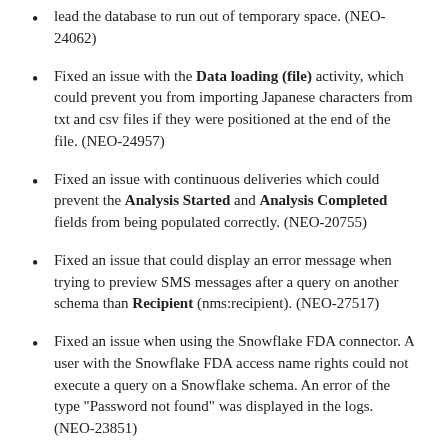lead the database to run out of temporary space. (NEO-24062)
Fixed an issue with the Data loading (file) activity, which could prevent you from importing Japanese characters from txt and csv files if they were positioned at the end of the file. (NEO-24957)
Fixed an issue with continuous deliveries which could prevent the Analysis Started and Analysis Completed fields from being populated correctly. (NEO-20755)
Fixed an issue that could display an error message when trying to preview SMS messages after a query on another schema than Recipient (nms:recipient). (NEO-27517)
Fixed an issue when using the Snowflake FDA connector. A user with the Snowflake FDA access name rights could not execute a query on a Snowflake schema. An error of the type "Password not found" was displayed in the logs. (NEO-23851)